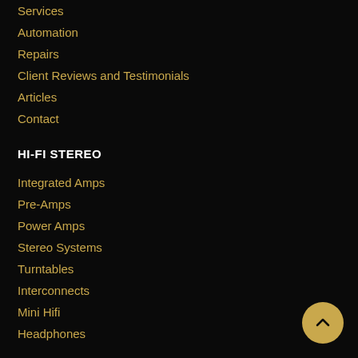Services
Automation
Repairs
Client Reviews and Testimonials
Articles
Contact
HI-FI STEREO
Integrated Amps
Pre-Amps
Power Amps
Stereo Systems
Turntables
Interconnects
Mini Hifi
Headphones
A/V PODUCTS
AV Receivers & Processors
Amplifiers